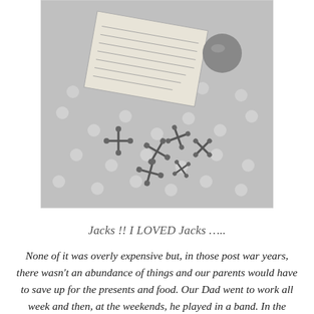[Figure (photo): Black and white photograph showing metal jacks, a small rubber ball, and a handwritten note on a polka-dot tablecloth.]
Jacks !! I LOVED Jacks …..
None of it was overly expensive but, in those post war years, there wasn't an abundance of things and our parents would have to save up for the presents and food. Our Dad went to work all week and then, at the weekends, he played in a band. In the months leading up to Christmas, he would take an empty gin and whisky bottle with him to gigs and,